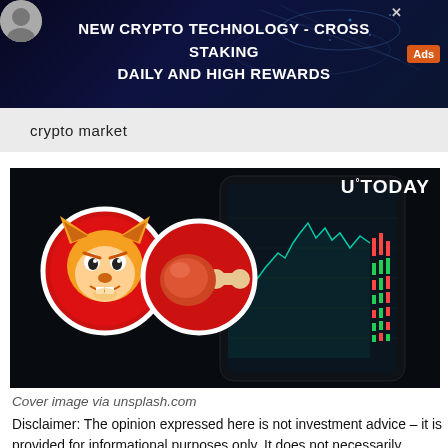[Figure (other): Advertisement banner for crypto staking service with dark blue background and orange Ads badge]
crypto market
[Figure (photo): U°TODAY article cover image showing Shiba Inu (SHIB) and Bone ShibaSwap (BONE) cryptocurrency coin logos overlaid on a dark background with a smartphone displaying a candlestick stock chart]
Cover image via unsplash.com
Disclaimer: The opinion expressed here is not investment advice – it is provided for informational purposes only. It does not necessarily reflect the